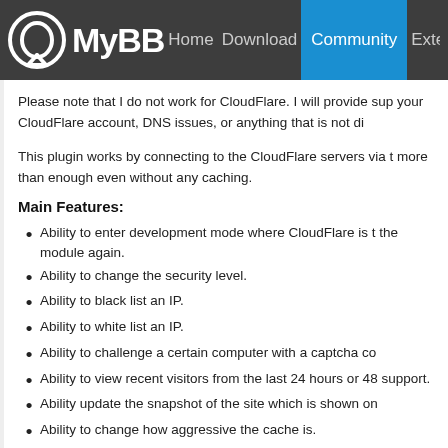MyBB | Home | Download | Community | Extend | Do...
Please note that I do not work for CloudFlare. I will provide sup... your CloudFlare account, DNS issues, or anything that is not di...
This plugin works by connecting to the CloudFlare servers via th... more than enough even without any caching.
Main Features:
Ability to enter development mode where CloudFlare is t... the module again.
Ability to change the security level.
Ability to black list an IP.
Ability to white list an IP.
Ability to challenge a certain computer with a captcha co...
Ability to view recent visitors from the last 24 hours or 48... support.
Ability update the snapshot of the site which is shown on...
Ability to change how aggressive the cache is.
Ability to purge the cache of resources (Useful when ch...